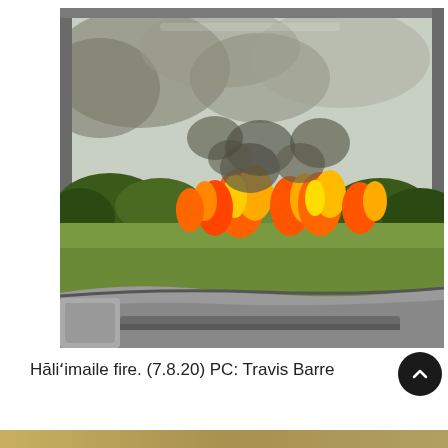[Figure (photo): Photograph taken from inside a car looking out the window at a wildfire. Green vegetation and trees visible with large orange flames and dark smoke rising into a hazy sky. Car interior elements visible including the window frame and dashboard edge.]
Hāliʻimaile fire. (7.8.20) PC: Travis Barrett